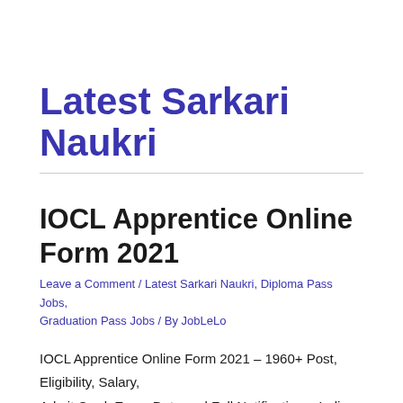Latest Sarkari Naukri
IOCL Apprentice Online Form 2021
Leave a Comment / Latest Sarkari Naukri, Diploma Pass Jobs, Graduation Pass Jobs / By JobLeLo
IOCL Apprentice Online Form 2021 – 1960+ Post, Eligibility, Salary, Admit Card, Exam Date and Full Notification – Indian Oil Corporation Limited IOCL Are Invited Online Application Form For